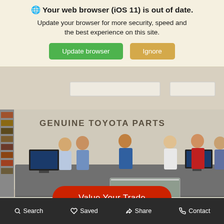🌐 Your web browser (iOS 11) is out of date. Update your browser for more security, speed and the best experience on this site.
Update browser | Ignore
[Figure (photo): Interior of a Toyota dealership parts counter. Staff stand behind a long service counter with screens. Shelves of automotive products visible on the right. Sign reads GENUINE TOYOTA PARTS on the wall. A red button overlay reads Value Your Trade.]
Value Your Trade
Search  Saved  Share  Contact